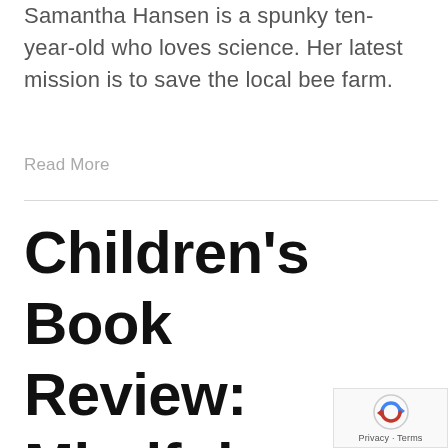Samantha Hansen is a spunky ten-year-old who loves science. Her latest mission is to save the local bee farm.
Read More
Children's Book Review: Mindfulness for Kids: Good D...